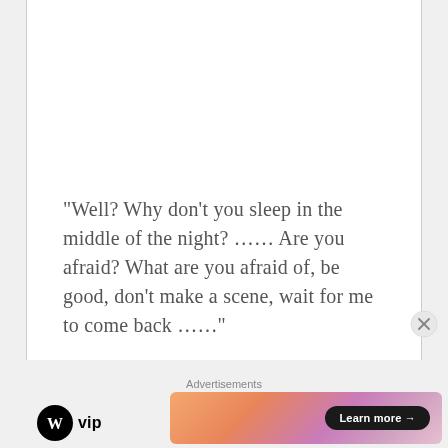“Well? Why don’t you sleep in the middle of the night? …… Are you afraid? What are you afraid of, be good, don’t make a scene, wait for me to come back ……”
Advertisements
[Figure (logo): WordPress VIP logo — circular W icon followed by 'vip' text in bold]
[Figure (screenshot): Advertisement banner with gradient orange-to-pink background and a dark 'Learn more →' pill button on the right]